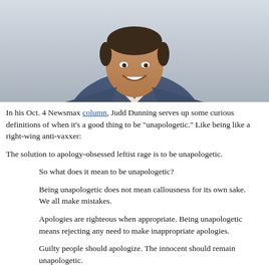[Figure (photo): Headshot of a smiling man in a blue suit with an open-collar white shirt, photographed against a light gray background.]
In his Oct. 4 Newsmax column, Judd Dunning serves up some curious definitions of when it's a good thing to be "unapologetic." Like being like a right-wing anti-vaxxer:
The solution to apology-obsessed leftist rage is to be unapologetic.
So what does it mean to be unapologetic?
Being unapologetic does not mean callousness for its own sake. We all make mistakes.
Apologies are righteous when appropriate. Being unapologetic means rejecting any need to make inappropriate apologies.
Guilty people should apologize. The innocent should remain unapologetic.